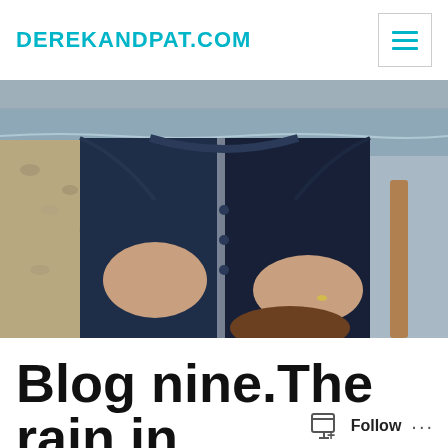DEREKANDPAT.COM
[Figure (photo): A person wearing a dark navy blue quilted jacket standing on a pebble beach with sea and sky in the background. The photo is cropped to show mainly the torso and hands. A wooden post is visible to the right.]
Blog nine.The rain in Spain is pouring down